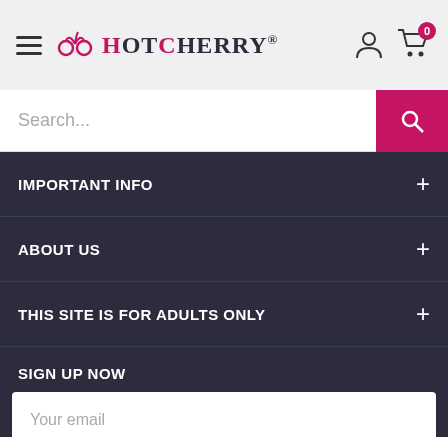HotCherry®
Search...
IMPORTANT INFO
ABOUT US
THIS SITE IS FOR ADULTS ONLY
SIGN UP NOW
Be first to hear about amazing deals, new products, and more!
Your email